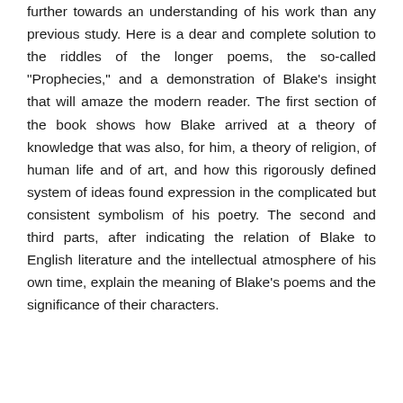further towards an understanding of his work than any previous study. Here is a dear and complete solution to the riddles of the longer poems, the so-called "Prophecies," and a demonstration of Blake's insight that will amaze the modern reader. The first section of the book shows how Blake arrived at a theory of knowledge that was also, for him, a theory of religion, of human life and of art, and how this rigorously defined system of ideas found expression in the complicated but consistent symbolism of his poetry. The second and third parts, after indicating the relation of Blake to English literature and the intellectual atmosphere of his own time, explain the meaning of Blake's poems and the significance of their characters.